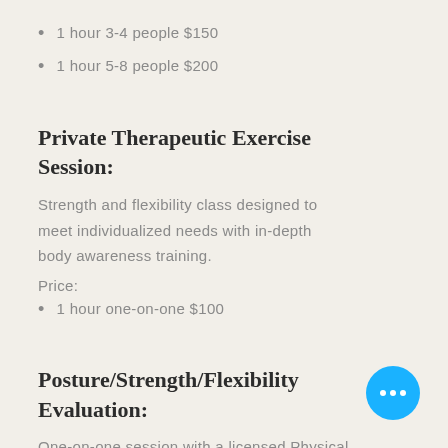1 hour 3-4 people $150
1 hour 5-8 people $200
Private Therapeutic Exercise Session:
Strength and flexibility class designed to meet individualized needs with in-depth body awareness training.
Price:
1 hour one-on-one $100
Posture/Strength/Flexibility Evaluation:
One-on-one session with a licensed Physical Therapist designed to increase your body awareness. A minimum of 4 exercises will